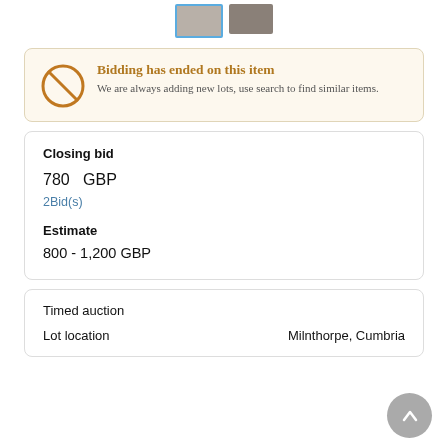[Figure (photo): Two small thumbnail images of an auction item at the top of the page]
Bidding has ended on this item
We are always adding new lots, use search to find similar items.
Closing bid
780   GBP
2Bid(s)
Estimate
800 - 1,200 GBP
Timed auction
Lot location   Milnthorpe, Cumbria